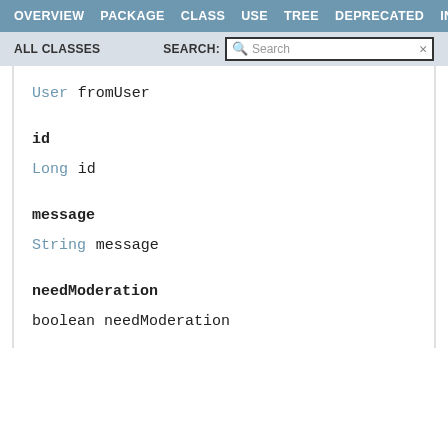OVERVIEW  PACKAGE  CLASS  USE  TREE  DEPRECATED  INDEX
ALL CLASSES   SEARCH:
User fromUser
id
Long id
message
String message
needModeration
boolean needModeration